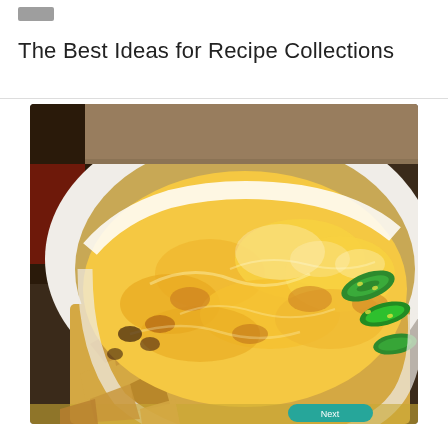The Best Ideas for Recipe Collections
[Figure (photo): A baked casserole dish filled with melted yellow and orange shredded cheese on top of tortilla chips and beans, with sliced green jalapeño peppers visible on the right side. The dish is white oval and sits on a yellow surface.]